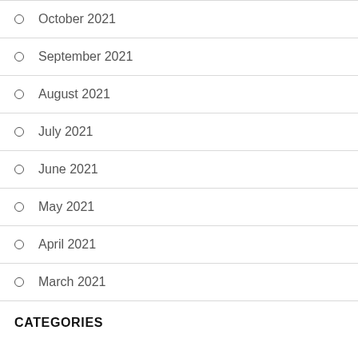October 2021
September 2021
August 2021
July 2021
June 2021
May 2021
April 2021
March 2021
CATEGORIES